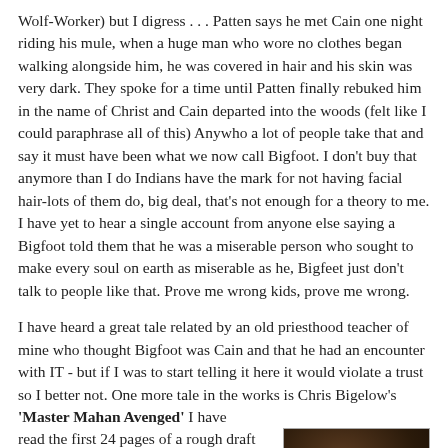Wolf-Worker) but I digress . . . Patten says he met Cain one night riding his mule, when a huge man who wore no clothes began walking alongside him, he was covered in hair and his skin was very dark. They spoke for a time until Patten finally rebuked him in the name of Christ and Cain departed into the woods (felt like I could paraphrase all of this) Anywho a lot of people take that and say it must have been what we now call Bigfoot. I don't buy that anymore than I do Indians have the mark for not having facial hair-lots of them do, big deal, that's not enough for a theory to me. I have yet to hear a single account from anyone else saying a Bigfoot told them that he was a miserable person who sought to make every soul on earth as miserable as he, Bigfeet just don't talk to people like that. Prove me wrong kids, prove me wrong.
I have heard a great tale related by an old priesthood teacher of mine who thought Bigfoot was Cain and that he had an encounter with IT - but if I was to start telling it here it would violate a trust so I better not. One more tale in the works is Chris Bigelow's 'Master Mahan Avenged' I have read the first 24 pages of a rough draft and would like to see him finish it. Its a
[Figure (photo): A dark, shadowy photo showing what appears to be a dark furry or hairy form, likely a Bigfoot-related image]